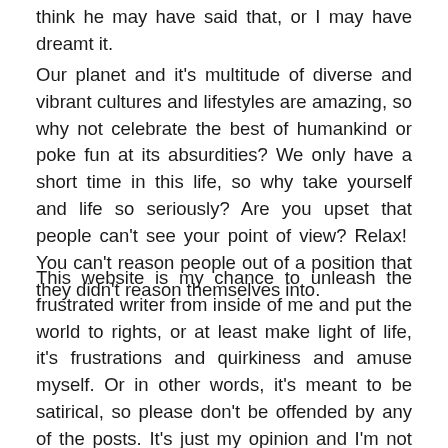think he may have said that, or I may have dreamt it.
Our planet and it's multitude of diverse and vibrant cultures and lifestyles are amazing, so why not celebrate the best of humankind or poke fun at its absurdities? We only have a short time in this life, so why take yourself and life so seriously? Are you upset that people can't see your point of view? Relax!  You can't reason people out of a position that they didn't reason themselves into.
This website is my chance to unleash the frustrated writer from inside of me and put the world to rights, or at least make light of life, it's frustrations and quirkiness and amuse myself. Or in other words, it's meant to be satirical, so please don't be offended by any of the posts. It's just my opinion and I'm not saying that it's right or wrong, it's just how I see this little thing called life.